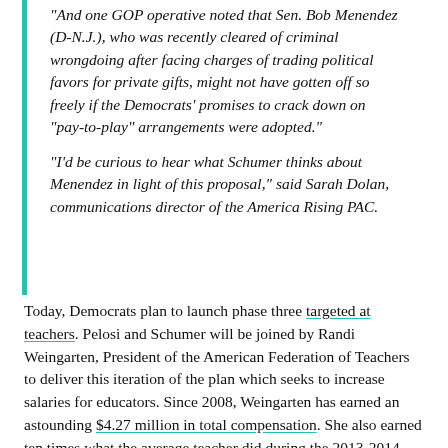"And one GOP operative noted that Sen. Bob Menendez (D-N.J.), who was recently cleared of criminal wrongdoing after facing charges of trading political favors for private gifts, might not have gotten off so freely if the Democrats' promises to crack down on "pay-to-play" arrangements were adopted."
"I'd be curious to hear what Schumer thinks about Menendez in light of this proposal," said Sarah Dolan, communications director of the America Rising PAC.
Today, Democrats plan to launch phase three targeted at teachers. Pelosi and Schumer will be joined by Randi Weingarten, President of the American Federation of Teachers to deliver this iteration of the plan which seeks to increase salaries for educators. Since 2008, Weingarten has earned an astounding $4.27 million in total compensation. She also earned ten times what the average teacher did during the 2013-2014 school year.
Since Democrats can't coalesce behind one message, it seems their